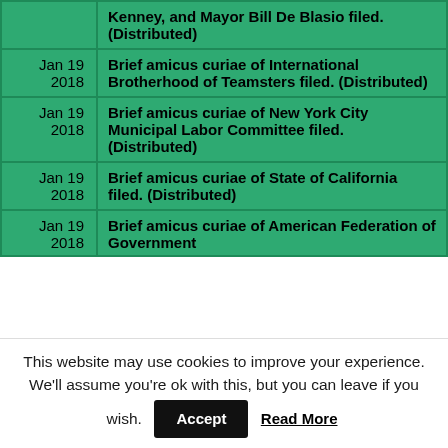| Date | Description |
| --- | --- |
|  | Kenney, and Mayor Bill De Blasio filed. (Distributed) |
| Jan 19 2018 | Brief amicus curiae of International Brotherhood of Teamsters filed. (Distributed) |
| Jan 19 2018 | Brief amicus curiae of New York City Municipal Labor Committee filed. (Distributed) |
| Jan 19 2018 | Brief amicus curiae of State of California filed. (Distributed) |
| Jan 19 2018 | Brief amicus curiae of American Federation of Government... |
This website may use cookies to improve your experience. We'll assume you're ok with this, but you can leave if you wish. Accept Read More